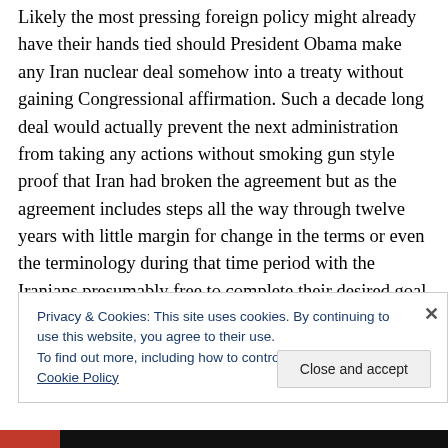Likely the most pressing foreign policy might already have their hands tied should President Obama make any Iran nuclear deal somehow into a treaty without gaining Congressional affirmation. Such a decade long deal would actually prevent the next administration from taking any actions without smoking gun style proof that Iran had broken the agreement but as the agreement includes steps all the way through twelve years with little margin for change in the terms or even the terminology during that time period with the Iranians presumably free to complete their desired goal of deliverable nuclear warheads and the
Privacy & Cookies: This site uses cookies. By continuing to use this website, you agree to their use.
To find out more, including how to control cookies, see here: Cookie Policy
[Close and accept]